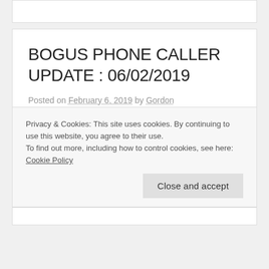BOGUS PHONE CALLER UPDATE : 06/02/2019
Posted on February 6, 2019 by Gordon
These are numbers from LincsAlert members whereby the callers target
Privacy & Cookies: This site uses cookies. By continuing to use this website, you agree to their use.
To find out more, including how to control cookies, see here: Cookie Policy
Close and accept